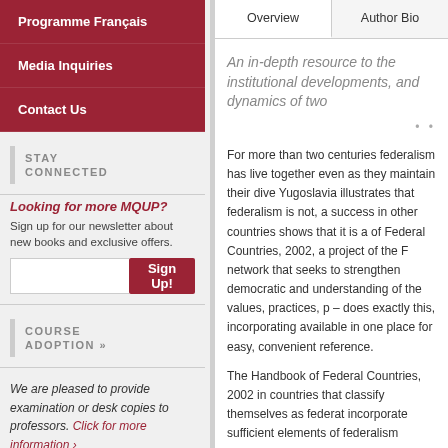Programme Français
Media Inquiries
Contact Us
STAY CONNECTED
Looking for more MQUP? Sign up for our newsletter about new books and exclusive offers.
COURSE ADOPTION »
We are pleased to provide examination or desk copies to professors. Click for more information ›
Overview
Author Bio
An in-depth resource to the institu... developments, and dynamics of tw...
For more than two centuries federalism has ... live together even as they maintain their dive... Yugoslavia illustrates that federalism is not, a... success in other countries shows that it is a ... of Federal Countries, 2002, a project of the F... network that seeks to strengthen democratic ... and understanding of the values, practices, p... – does exactly this, incorporating available in... one place for easy, convenient reference.
The Handbook of Federal Countries, 2002 in... countries that classify themselves as federat... incorporate sufficient elements of federalism ... articles – written by authors around the worl... institutions, constitutions, and dynamics of fe... current political/geographic and economic/sc...